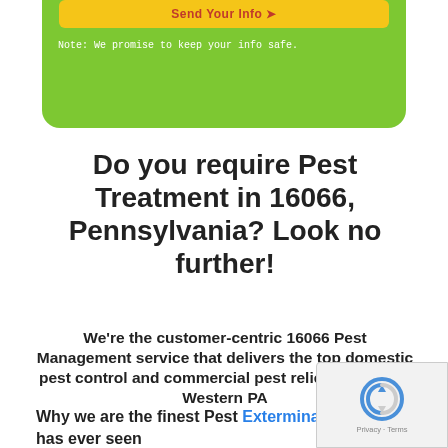[Figure (other): Green rounded box with yellow button (Send Your Info) and white note text below]
Note: We promise to keep your info safe.
Do you require Pest Treatment in 16066, Pennsylvania? Look no further!
We're the customer-centric 16066 Pest Management service that delivers the top domestic pest control and commercial pest relief success in Western PA
Why we are the finest Pest Exterminator 16066 has ever seen